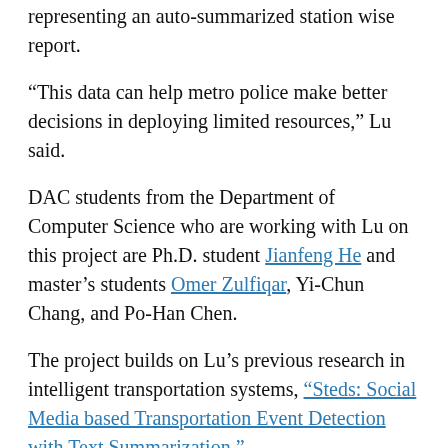representing an auto-summarized station wise report.
“This data can help metro police make better decisions in deploying limited resources,” Lu said.
DAC students from the Department of Computer Science who are working with Lu on this project are Ph.D. student Jianfeng He and master’s students Omer Zulfiqar, Yi-Chun Chang, and Po-Han Chen.
The project builds on Lu’s previous research in intelligent transportation systems, “Steds: Social Media based Transportation Event Detection with Text Summarization,”
“A Search and Summary Application for Traffic Events Detection Based on Twitter Data,”
“Determining Relative Airport Threats from News and Social Media,” and